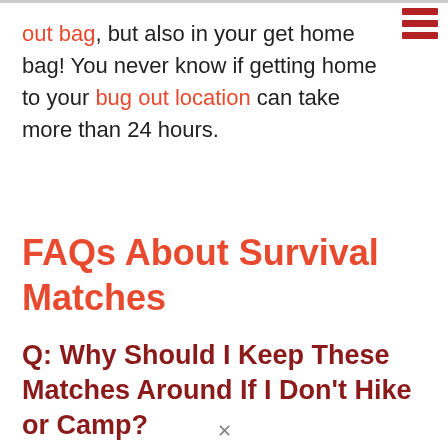out bag, but also in your get home bag! You never know if getting home to your bug out location can take more than 24 hours.
[Figure (other): Hamburger menu icon made of three dark red horizontal bars]
FAQs About Survival Matches
Q: Why Should I Keep These Matches Around If I Don't Hike or Camp?